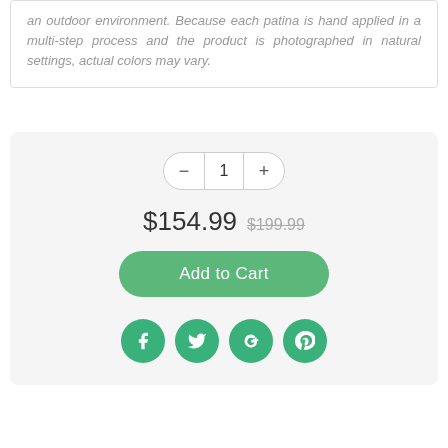an outdoor environment. Because each patina is hand applied in a multi-step process and the product is photographed in natural settings, actual colors may vary.
[Figure (screenshot): E-commerce product purchase widget with quantity selector showing '1', price '$154.99' with strikethrough original price '$199.99', green 'Add to Cart' button, and four green social media icons (Facebook, Twitter, Google+, Pinterest)]